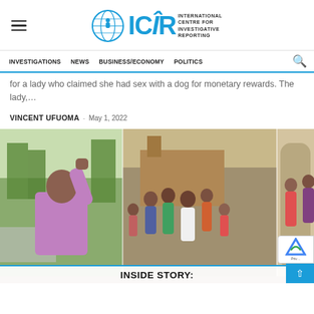ICIR - International Centre for Investigative Reporting
INVESTIGATIONS | NEWS | BUSINESS/ECONOMY | POLITICS
for a lady who claimed she had sex with a dog for monetary rewards. The lady,...
VINCENT UFUOMA · MAY 1, 2022
[Figure (photo): Composite photo showing three scenes: left panel shows a man in purple shirt raising his fist; center panel shows a group of people gathered outdoors near a building; right panel shows women standing on a porch. Caption below reads INSIDE STORY in bold uppercase.]
INSIDE STORY: